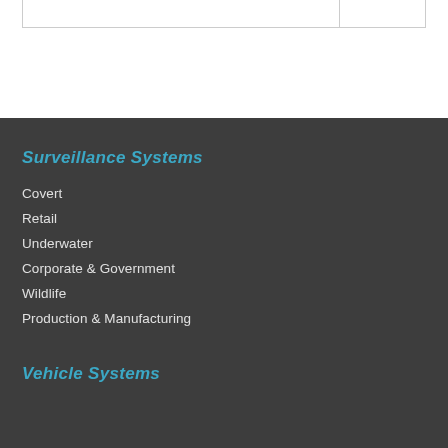Surveillance Systems
Covert
Retail
Underwater
Corporate & Government
Wildlife
Production & Manufacturing
Vehicle Systems